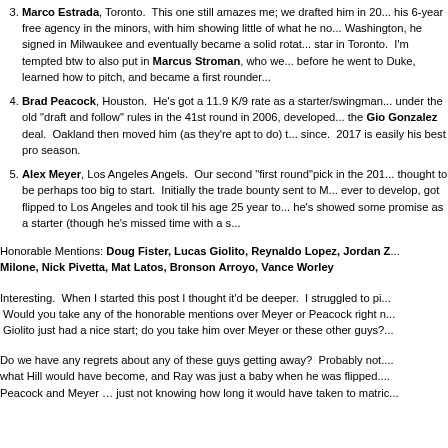3. Marco Estrada, Toronto. This one still amazes me; we drafted him in 20... his 6-year free agency in the minors, with him showing little of what he no... Washington, he signed in Milwaukee and eventually became a solid rotat... star in Toronto. I'm tempted btw to also put in Marcus Stroman, who we... before he went to Duke, learned how to pitch, and became a first rounder
4. Brad Peacock, Houston. He's got a 11.9 K/9 rate as a starter/swingman... under the old "draft and follow" rules in the 41st round in 2006, developed... the Gio Gonzalez deal. Oakland then moved him (as they're apt to do) t... since. 2017 is easily his best pro season.
5. Alex Meyer, Los Angeles Angels. Our second "first round"pick in the 201... thought to be perhaps too big to start. Initially the trade bounty sent to M... ever to develop, got flipped to Los Angeles and took til his age 25 year to... he's showed some promise as a starter (though he's missed time with a s
Honorable Mentions: Doug Fister, Lucas Giolito, Reynaldo Lopez, Jordan Z... Milone, Nick Pivetta, Mat Latos, Bronson Arroyo, Vance Worley
Interesting. When I started this post I thought it'd be deeper. I struggled to pi... Would you take any of the honorable mentions over Meyer or Peacock right n... Giolito just had a nice start; do you take him over Meyer or these other guys?
Do we have any regrets about any of these guys getting away? Probably not.... what Hill would have become, and Ray was just a baby when he was flipped.... Peacock and Meyer … just not knowing how long it would have taken to matric